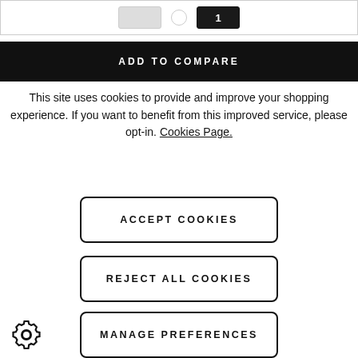[Figure (screenshot): Top navigation bar with buttons and circle element]
ADD TO COMPARE
This site uses cookies to provide and improve your shopping experience. If you want to benefit from this improved service, please opt-in. Cookies Page.
ACCEPT COOKIES
REJECT ALL COOKIES
MANAGE PREFERENCES